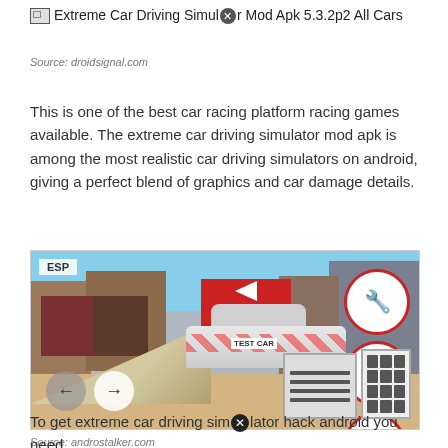Extreme Car Driving Simulator Mod Apk 5.3.2p2 All Cars
Source: droidsignal.com
This is one of the best car racing platform racing games available. The extreme car driving simulator mod apk is among the most realistic car driving simulators on android, giving a perfect blend of graphics and car damage details.
[Figure (screenshot): Screenshot of Extreme Car Driving Simulator game showing a sports car labeled TEST CAR on a ramp in an urban environment with ESP indicator, navigation arrows, and control buttons]
Source: androstalker.com
To get extreme car driving simulator hack android you need